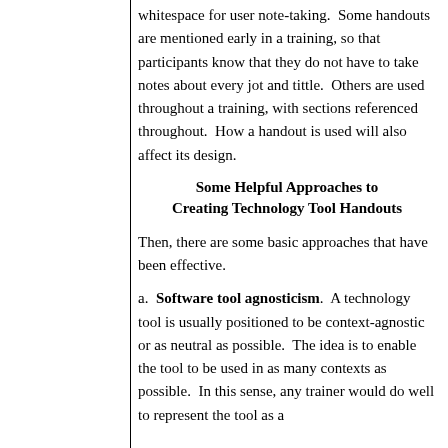whitespace for user note-taking.  Some handouts are mentioned early in a training, so that participants know that they do not have to take notes about every jot and tittle.  Others are used throughout a training, with sections referenced throughout.  How a handout is used will also affect its design.
Some Helpful Approaches to Creating Technology Tool Handouts
Then, there are some basic approaches that have been effective.
a.  Software tool agnosticism.  A technology tool is usually positioned to be context-agnostic or as neutral as possible.  The idea is to enable the tool to be used in as many contexts as possible.  In this sense, any trainer would do well to represent the tool as a